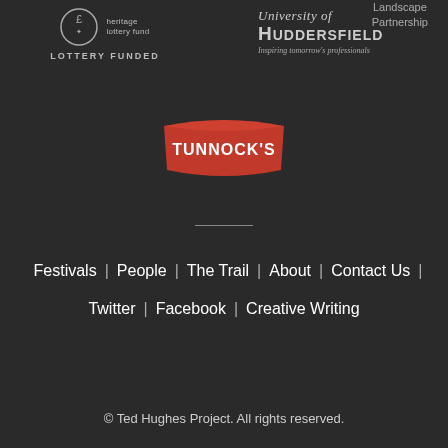[Figure (logo): Landscape Partnership text logo in grey]
[Figure (logo): Heritage Lottery Fund logo with clover/dice icon and text LOTTERY FUNDED]
[Figure (logo): University of Huddersfield logo with tagline Inspiring tomorrow's professionals]
[Figure (logo): Tunnock's logo in red and white banner style]
Festivals | People | The Trail | About | Contact Us |
Twitter | Facebook | Creative Writing
© Ted Hughes Project. All rights reserved.